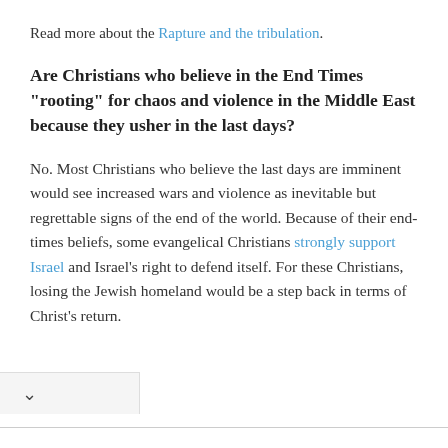Read more about the Rapture and the tribulation.
Are Christians who believe in the End Times "rooting" for chaos and violence in the Middle East because they usher in the last days?
No. Most Christians who believe the last days are imminent would see increased wars and violence as inevitable but regrettable signs of the end of the world. Because of their end-times beliefs, some evangelical Christians strongly support Israel and Israel's right to defend itself. For these Christians, losing the Jewish homeland would be a step back in terms of Christ's return.